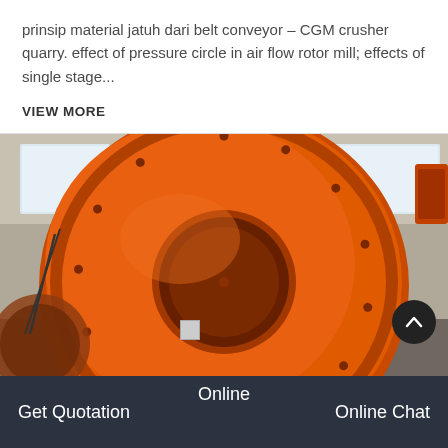prinsip material jatuh dari belt conveyor – CGM crusher quarry. effect of pressure circle in air flow rotor mill; effects of single stage...
VIEW MORE
[Figure (photo): Industrial ball mill or grinding drum in orange/red paint, viewed from the front showing the circular opening/inlet, bolted flange, in an industrial workshop setting.]
Online   Get Quotation   Online Chat